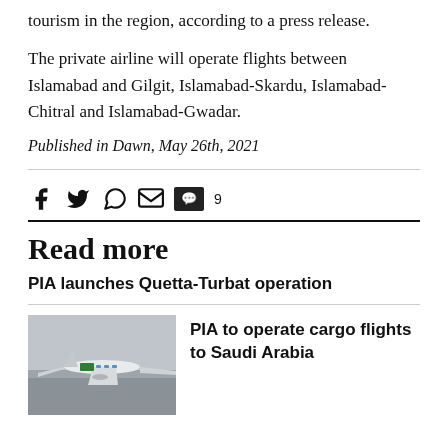tourism in the region, according to a press release.
The private airline will operate flights between Islamabad and Gilgit, Islamabad-Skardu, Islamabad-Chitral and Islamabad-Gwadar.
Published in Dawn, May 26th, 2021
[Figure (infographic): Social media share icons: Facebook, Twitter, WhatsApp, Email, Comment (9)]
Read more
PIA launches Quetta-Turbat operation
[Figure (photo): Photo of a PIA aircraft on a runway with hazy sky background]
PIA to operate cargo flights to Saudi Arabia